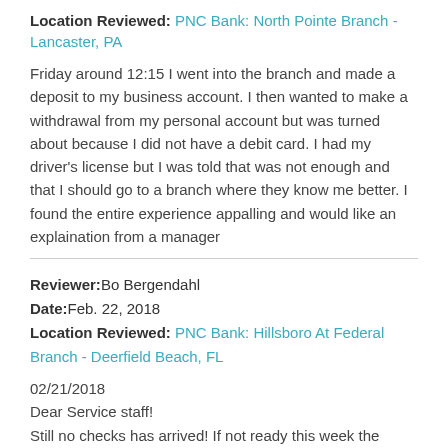Location Reviewed: PNC Bank: North Pointe Branch - Lancaster, PA
Friday around 12:15 I went into the branch and made a deposit to my business account. I then wanted to make a withdrawal from my personal account but was turned about because I did not have a debit card. I had my driver's license but I was told that was not enough and that I should go to a branch where they know me better. I found the entire experience appalling and would like an explaination from a manager
Reviewer: Bo Bergendahl
Date: Feb. 22, 2018
Location Reviewed: PNC Bank: Hillsboro At Federal Branch - Deerfield Beach, FL
02/21/2018
Dear Service staff!
Still no checks has arrived! If not ready this week the account will be cancelled.